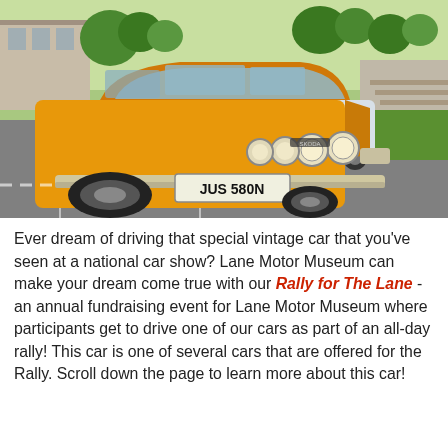[Figure (photo): A bright orange/yellow vintage Skoda car (license plate JUS 580N) parked in a lot, with other classic cars visible in the background, trees and a building behind, sunny day.]
Ever dream of driving that special vintage car that you've seen at a national car show? Lane Motor Museum can make your dream come true with our Rally for The Lane - an annual fundraising event for Lane Motor Museum where participants get to drive one of our cars as part of an all-day rally! This car is one of several cars that are offered for the Rally. Scroll down the page to learn more about this car!